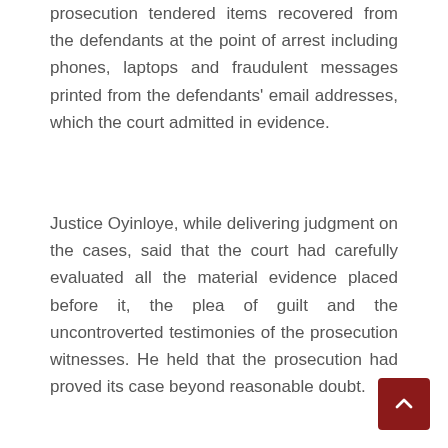prosecution tendered items recovered from the defendants at the point of arrest including phones, laptops and fraudulent messages printed from the defendants' email addresses, which the court admitted in evidence.
Justice Oyinloye, while delivering judgment on the cases, said that the court had carefully evaluated all the material evidence placed before it, the plea of guilt and the uncontroverted testimonies of the prosecution witnesses. He held that the prosecution had proved its case beyond reasonable doubt.